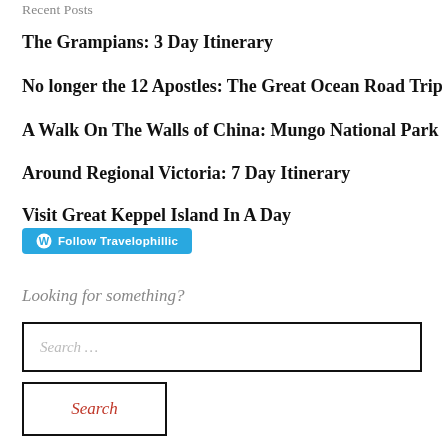Recent Posts
The Grampians: 3 Day Itinerary
No longer the 12 Apostles: The Great Ocean Road Trip
A Walk On The Walls of China: Mungo National Park
Around Regional Victoria: 7 Day Itinerary
Visit Great Keppel Island In A Day
[Figure (other): WordPress Follow Travelophillic button]
Looking for something?
Search …
Search